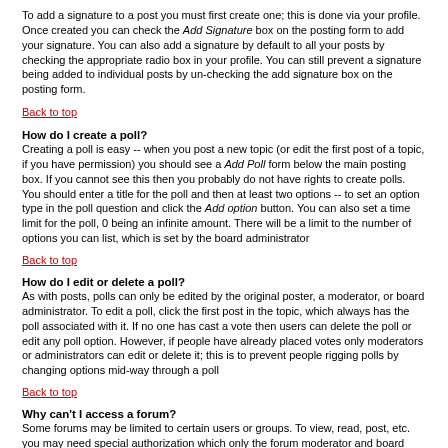To add a signature to a post you must first create one; this is done via your profile. Once created you can check the Add Signature box on the posting form to add your signature. You can also add a signature by default to all your posts by checking the appropriate radio box in your profile. You can still prevent a signature being added to individual posts by un-checking the add signature box on the posting form.
Back to top
How do I create a poll?
Creating a poll is easy -- when you post a new topic (or edit the first post of a topic, if you have permission) you should see a Add Poll form below the main posting box. If you cannot see this then you probably do not have rights to create polls. You should enter a title for the poll and then at least two options -- to set an option type in the poll question and click the Add option button. You can also set a time limit for the poll, 0 being an infinite amount. There will be a limit to the number of options you can list, which is set by the board administrator
Back to top
How do I edit or delete a poll?
As with posts, polls can only be edited by the original poster, a moderator, or board administrator. To edit a poll, click the first post in the topic, which always has the poll associated with it. If no one has cast a vote then users can delete the poll or edit any poll option. However, if people have already placed votes only moderators or administrators can edit or delete it; this is to prevent people rigging polls by changing options mid-way through a poll
Back to top
Why can't I access a forum?
Some forums may be limited to certain users or groups. To view, read, post, etc. you may need special authorization which only the forum moderator and board administrator can grant, so you should contact them.
Back to top
Why can't I vote in polls?
Only registered users can vote in polls so as to prevent spoofing of results. If you have